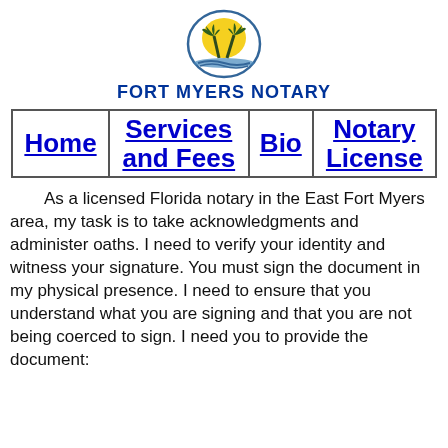[Figure (logo): Fort Myers Notary logo: a circular emblem with a yellow sun and dark green palm trees over blue water]
FORT MYERS NOTARY
| Home | Services and Fees | Bio | Notary License |
| --- | --- | --- | --- |
As a licensed Florida notary in the East Fort Myers area, my task is to take acknowledgments and administer oaths. I need to verify your identity and witness your signature. You must sign the document in my physical presence. I need to ensure that you understand what you are signing and that you are not being coerced to sign. I need you to provide the document: